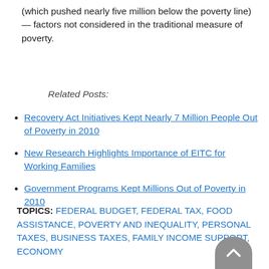(which pushed nearly five million below the poverty line) — factors not considered in the traditional measure of poverty.
Related Posts:
Recovery Act Initiatives Kept Nearly 7 Million People Out of Poverty in 2010
New Research Highlights Importance of EITC for Working Families
Government Programs Kept Millions Out of Poverty in 2010
TOPICS: FEDERAL BUDGET, FEDERAL TAX, FOOD ASSISTANCE, POVERTY AND INEQUALITY, PERSONAL TAXES, BUSINESS TAXES, FAMILY INCOME SUPPORT, ECONOMY